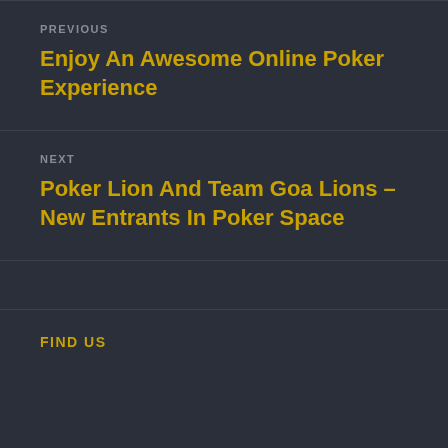PREVIOUS
Enjoy An Awesome Online Poker Experience
NEXT
Poker Lion And Team Goa Lions – New Entrants In Poker Space
FIND US